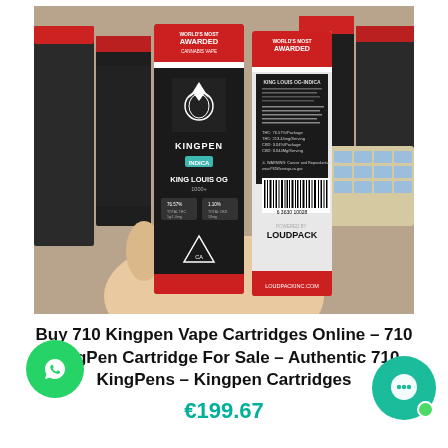[Figure (photo): A hand holding two KingPen cannabis vape cartridge boxes (King Louis OG, 1000mg) — one showing the front with the KingPen logo and indica label, one showing the back with lab info and barcode. Multiple boxes visible in the background on a wooden surface.]
Buy 710 Kingpen Vape Cartridges Online – 710 KingPen Cartridge For Sale – Authentic 710 KingPens – Kingpen Cartridges
€199.67